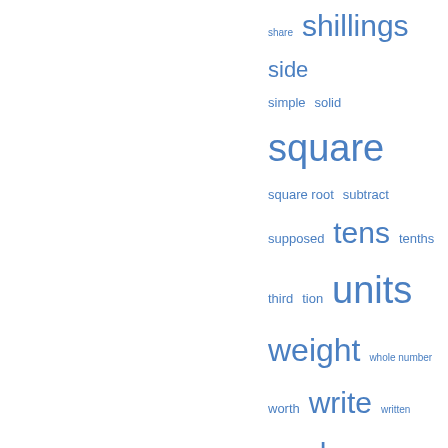[Figure (other): Tag cloud with words: share, shillings, side, simple, solid, square, square root, subtract, supposed, tens, tenths, third, tion, units, weight, whole number, worth, write, written, yard — displayed in varying font sizes in blue]
Popular passages
Page 82 - Multiply each payment by its term of credit, and divide the sum of the products by the sum of the payments; the quotient will be the average term of credit.
Appears in 223 books from 1801-1900